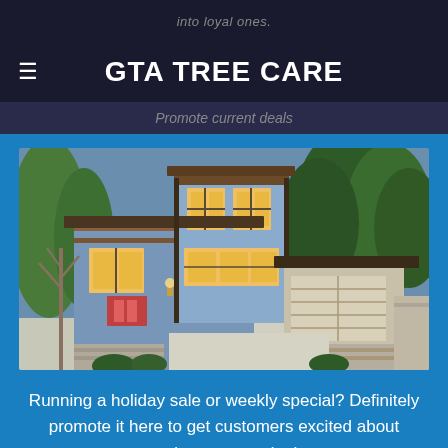into loyal ones.
GTA TREE CARE
Promote current deals
[Figure (photo): Modern two-story house with blue siding, wood accents, large windows lit from inside, stone base, attached garage, surrounded by tall conifer trees at dusk.]
Running a holiday sale or weekly special? Definitely promote it here to get customers excited about getting a sweet deal.